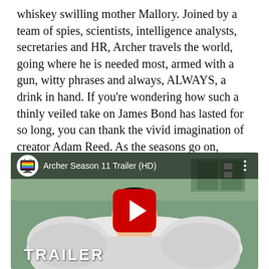whiskey swilling mother Mallory. Joined by a team of spies, scientists, intelligence analysts, secretaries and HR, Archer travels the world, going where he is needed most, armed with a gun, witty phrases and always, ALWAYS, a drink in hand. If you're wondering how such a thinly veiled take on James Bond has lasted for so long, you can thank the vivid imagination of creator Adam Reed. As the seasons go on, Archer traverses between reality, dreamscape, eras and genre, layering parody after parody and making sure you will never get bored. Sploosh!
[Figure (screenshot): YouTube video thumbnail showing Archer Season 11 Trailer (HD). Features an animated character (Archer) lying in a bed with white pillows, with a YouTube play button overlay and the word TRAILER at the bottom. A YouTube channel icon with a TV and rainbow stripes is visible in the top-left corner.]